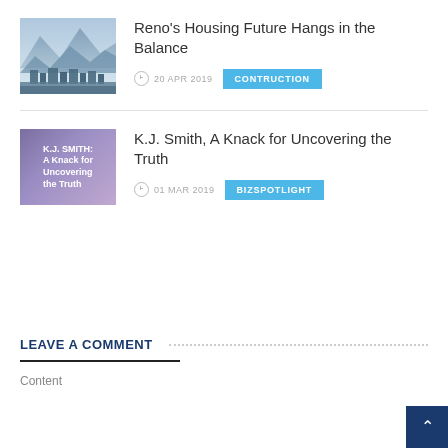[Figure (photo): City skyline with mountains in background (Reno, NV), blue-grey tones]
Reno's Housing Future Hangs in the Balance
20 APR 2019
CONTRUCTION
[Figure (illustration): Book cover: K.J. SMITH: A Knack for Uncovering the Truth, purple gradient background with white text]
K.J. Smith, A Knack for Uncovering the Truth
01 MAR 2019
BIZSPOTLIGHT
LEAVE A COMMENT
Content